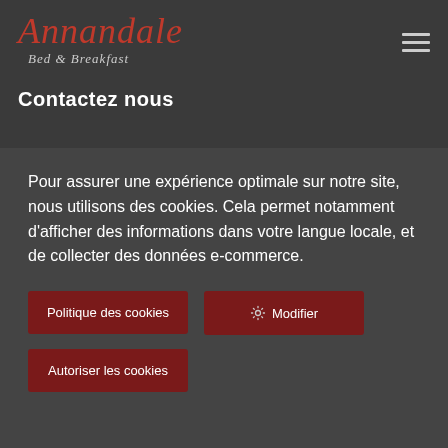[Figure (logo): Annandale Bed & Breakfast logo in cursive red script with grey subtitle]
[Figure (other): Hamburger menu icon (three horizontal lines)]
Contactez nous
Pour assurer une expérience optimale sur notre site, nous utilisons des cookies. Cela permet notamment d'afficher des informations dans votre langue locale, et de collecter des données e-commerce.
Politique des cookies
Modifier
Autoriser les cookies